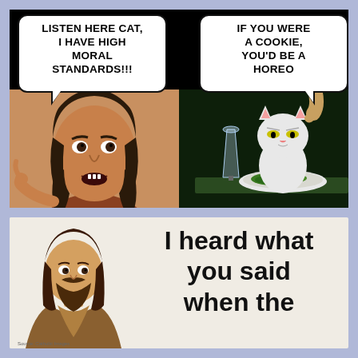[Figure (illustration): Internet meme: top half shows woman pointing and white cat at dinner table. Left speech bubble: 'LISTEN HERE CAT, I HAVE HIGH MORAL STANDARDS!!!'. Right speech bubble: 'IF YOU WERE A COOKIE, YOU'D BE A HOREO'. Bottom meme: Jesus figure with text 'I heard what you said when the']